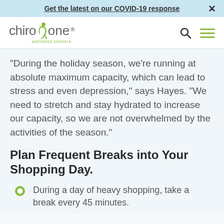Get the latest on our COVID-19 response
[Figure (logo): Chiro One Wellness Centers logo with stylized figure]
“During the holiday season, we’re running at absolute maximum capacity, which can lead to stress and even depression,” says Hayes. “We need to stretch and stay hydrated to increase our capacity, so we are not overwhelmed by the activities of the season.”
Plan Frequent Breaks into Your Shopping Day.
During a day of heavy shopping, take a break every 45 minutes.